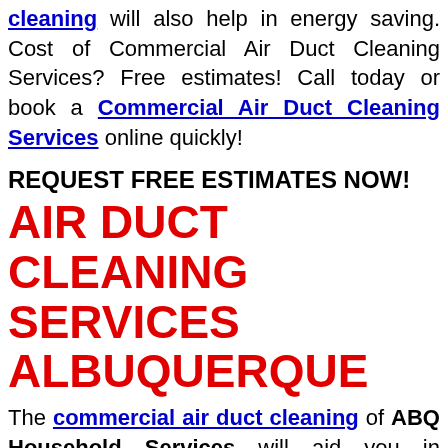cleaning will also help in energy saving. Cost of Commercial Air Duct Cleaning Services? Free estimates! Call today or book a Commercial Air Duct Cleaning Services online quickly!
REQUEST FREE ESTIMATES NOW!
AIR DUCT CLEANING SERVICES ALBUQUERQUE
The commercial air duct cleaning of ABQ Household Services will aid you in identifying the inefficiencies which can be easily solved with fewer expenses. The team of commercial air duct cleaning will provide you evidence about the cleaning of your